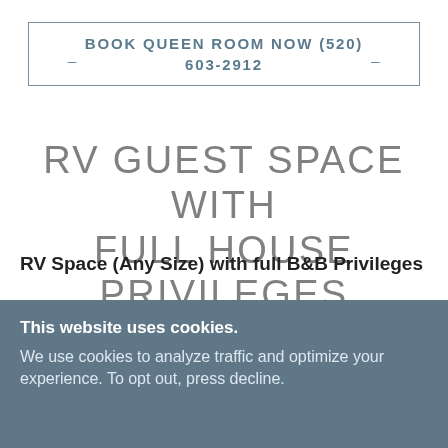BOOK QUEEN ROOM NOW (520) 603-2912
RV GUEST SPACE WITH FULL HOUSE PRIVILEGES
RV Space (Any Size) with full B&B Privileges
This website uses cookies.
We use cookies to analyze traffic and optimize your experience. To opt out, press decline.